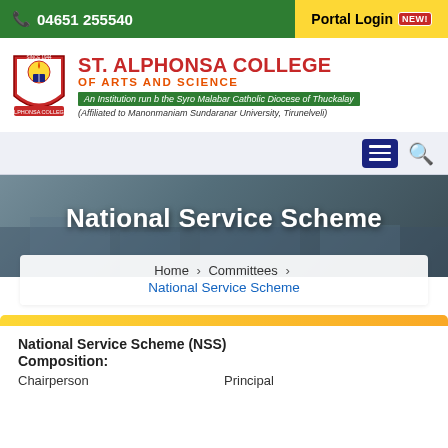04651 255540  |  Portal Login NEW
[Figure (logo): St. Alphonsa College shield logo with flame and book]
ST. ALPHONSA COLLEGE OF ARTS AND SCIENCE
An Institution run b the Syro Malabar Catholic Diocese of Thuckalay
(Affiliated to Manonmaniam Sundaranar University, Tirunelveli)
National Service Scheme
Home > Committees > National Service Scheme
National Service Scheme (NSS)
Composition:
Chairperson                                   Principal